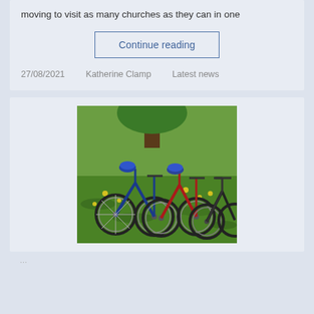moving to visit as many churches as they can in one
Continue reading
27/08/2021    Katherine Clamp    Latest news
[Figure (photo): Several bicycles parked on green grass near a tree with yellow dandelions in the background. The bikes include mountain bikes with helmets resting on them.]
...